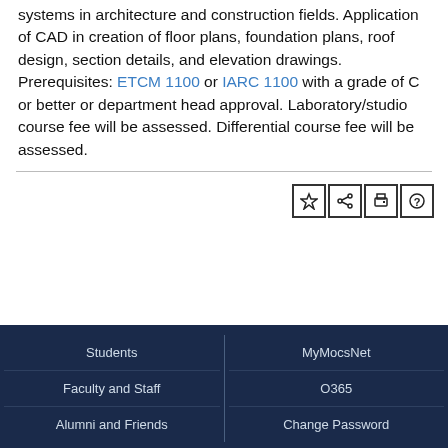systems in architecture and construction fields. Application of CAD in creation of floor plans, foundation plans, roof design, section details, and elevation drawings.  Prerequisites: ETCM 1100 or IARC 1100 with a grade of C or better or department head approval. Laboratory/studio course fee will be assessed. Differential course fee will be assessed.
[Figure (other): Toolbar with four icon buttons: star (favorite), share, print, and help/question mark]
Students | MyMocsNet
Faculty and Staff | O365
Alumni and Friends | Change Password